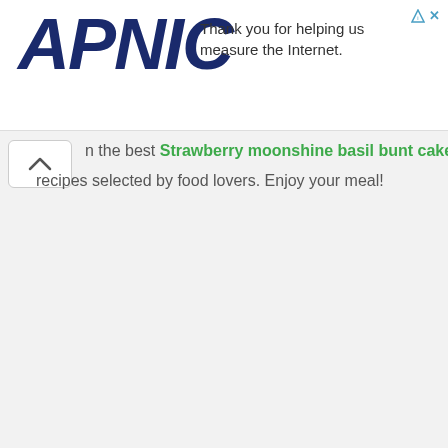[Figure (logo): APNIC logo in bold dark navy italic text]
Thank you for helping us measure the Internet.
[Figure (other): Chevron/up arrow button (caret icon) in a white rounded rectangle]
n the best Strawberry moonshine basil bunt cake recipes selected by food lovers. Enjoy your meal!